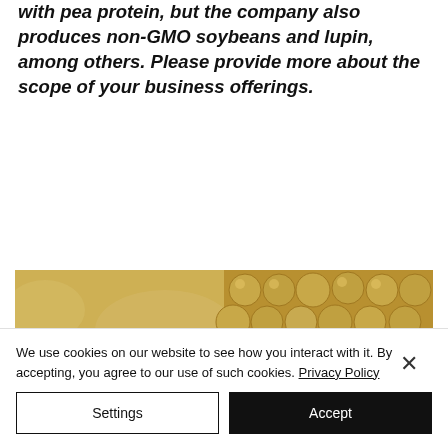with pea protein, but the company also produces non-GMO soybeans and lupin, among others. Please provide more about the scope of your business offerings.
[Figure (photo): Split image showing pea protein powder on the left half and whole peas/soybeans on the right half, both in tan/beige tones]
We use cookies on our website to see how you interact with it. By accepting, you agree to our use of such cookies. Privacy Policy